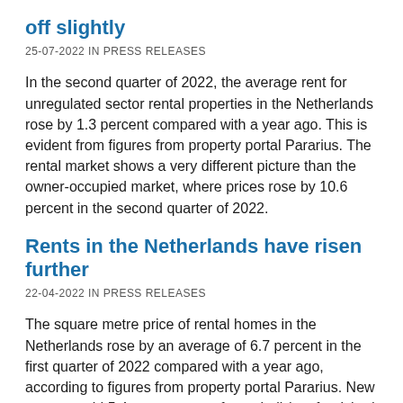off slightly
25-07-2022 IN PRESS RELEASES
In the second quarter of 2022, the average rent for unregulated sector rental properties in the Netherlands rose by 1.3 percent compared with a year ago. This is evident from figures from property portal Pararius. The rental market shows a very different picture than the owner-occupied market, where prices rose by 10.6 percent in the second quarter of 2022.
Rents in the Netherlands have risen further
22-04-2022 IN PRESS RELEASES
The square metre price of rental homes in the Netherlands rose by an average of 6.7 percent in the first quarter of 2022 compared with a year ago, according to figures from property portal Pararius. New tenants paid 5.4 percent more for a shell (not furnished nor upholstered) rental, 9.1 percent more